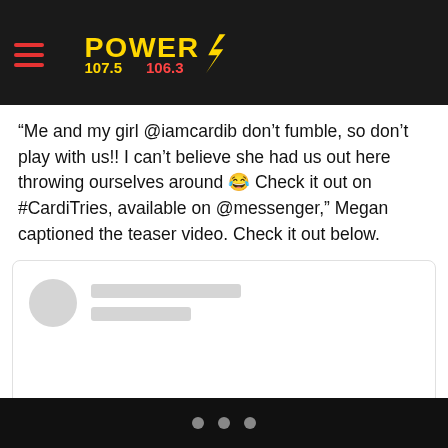Power 107.5 106.3
“Me and my girl @iamcardib don’t fumble, so don’t play with us!! I can’t believe she had us out here throwing ourselves around 😂 Check it out on #CardiTries, available on @messenger,” Megan captioned the teaser video. Check it out below.
[Figure (screenshot): Embedded social media post placeholder with blurred/grey avatar circle and two grey placeholder lines for username and handle]